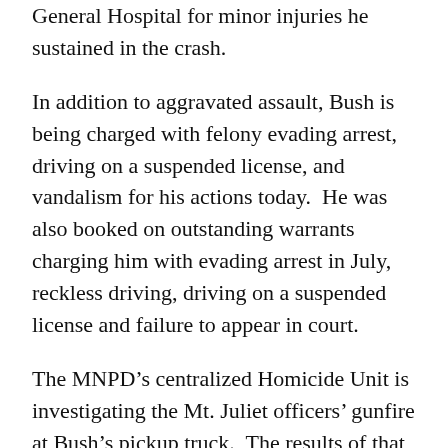General Hospital for minor injuries he sustained in the crash.
In addition to aggravated assault, Bush is being charged with felony evading arrest, driving on a suspended license, and vandalism for his actions today.  He was also booked on outstanding warrants charging him with evading arrest in July, reckless driving, driving on a suspended license and failure to appear in court.
The MNPD’s centralized Homicide Unit is investigating the Mt. Juliet officers’ gunfire at Bush’s pickup truck.  The results of that investigation will be forwarded to the District Attorney’s Office.